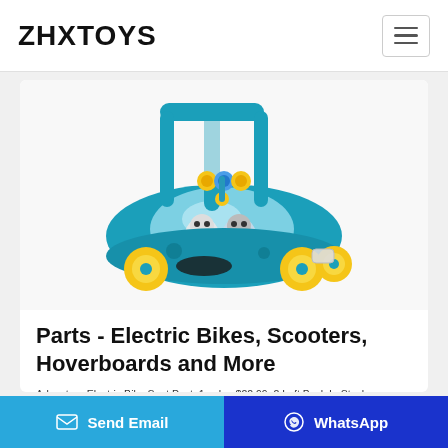ZHXTOYS
[Figure (photo): Blue toy car/spaceship baby walker with yellow wheels and cartoon character figures inside a clear dome, with a blue handle on top. The toy has decorative flower/gear designs and appears to be a children's ride-on or push walker toy.]
Parts - Electric Bikes, Scooters, Hoverboards and More
Adventure Electric Bike Seat Post. 1 color. $22.99. 2 Left Back In Stock. Adventure Electric
Send Email | WhatsApp